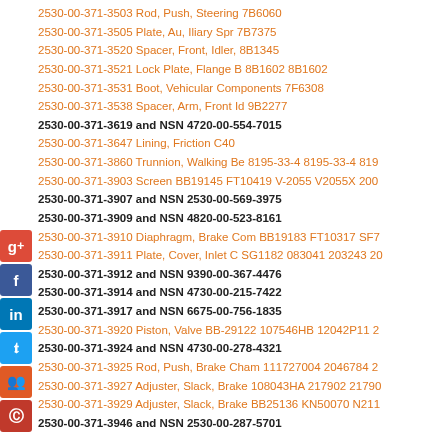2530-00-371-3503 Rod, Push, Steering 7B6060
2530-00-371-3505 Plate, Au, Iliary Spr 7B7375
2530-00-371-3520 Spacer, Front, Idler, 8B1345
2530-00-371-3521 Lock Plate, Flange B 8B1602 8B1602
2530-00-371-3531 Boot, Vehicular Components 7F6308
2530-00-371-3538 Spacer, Arm, Front Id 9B2277
2530-00-371-3619 and NSN 4720-00-554-7015
2530-00-371-3647 Lining, Friction C40
2530-00-371-3860 Trunnion, Walking Be 8195-33-4 8195-33-4 819
2530-00-371-3903 Screen BB19145 FT10419 V-2055 V2055X 200
2530-00-371-3907 and NSN 2530-00-569-3975
2530-00-371-3909 and NSN 4820-00-523-8161
2530-00-371-3910 Diaphragm, Brake Com BB19183 FT10317 SF7
2530-00-371-3911 Plate, Cover, Inlet C SG1182 083041 203243 20
2530-00-371-3912 and NSN 9390-00-367-4476
2530-00-371-3914 and NSN 4730-00-215-7422
2530-00-371-3917 and NSN 6675-00-756-1835
2530-00-371-3920 Piston, Valve BB-29122 107546HB 12042P11 2
2530-00-371-3924 and NSN 4730-00-278-4321
2530-00-371-3925 Rod, Push, Brake Cham 111727004 2046784 2
2530-00-371-3927 Adjuster, Slack, Brake 108043HA 217902 21790
2530-00-371-3929 Adjuster, Slack, Brake BB25136 KN50070 N211
2530-00-371-3946 and NSN 2530-00-287-5701